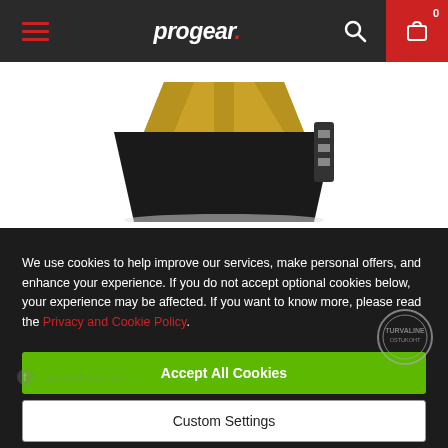progear. — site header with hamburger menu, search, and cart icons
[Figure (photo): Product photo of a black and gold memory card / electronic component partially visible at top of page]
We use cookies to help improve our services, make personal offers, and enhance your experience. If you do not accept optional cookies below, your experience may be affected. If you want to know more, please read the Privacy and Cookie Policy.
Accept All Cookies
Custom Settings